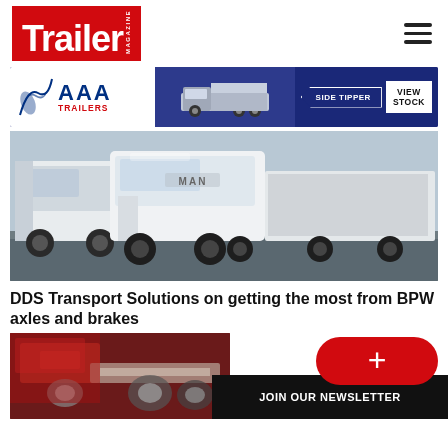Trailer Magazine
[Figure (photo): AAA Trailers advertisement banner with side tipper truck and VIEW STOCK button]
[Figure (photo): Fleet of white MAN trucks parked in a yard, front view]
DDS Transport Solutions on getting the most from BPW axles and brakes
[Figure (photo): Close-up of red and chrome truck/trailer coupling and axle components]
JOIN OUR NEWSLETTER